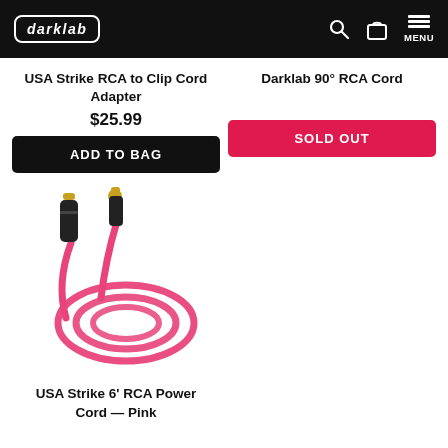darklab
USA Strike RCA to Clip Cord Adapter
$25.99
ADD TO BAG
Darklab 90° RCA Cord
SOLD OUT
[Figure (photo): Pink RCA power cord with two black connectors — one TS plug and one RCA plug — coiled in a circle against white background]
USA Strike 6' RCA Power Cord — Pink